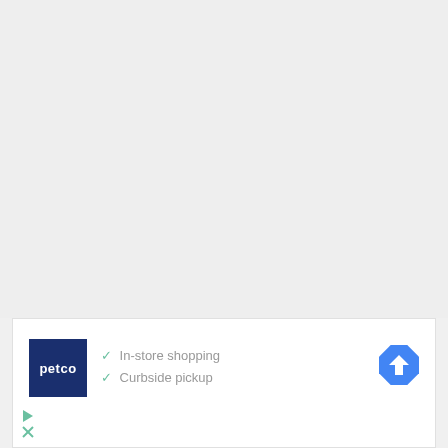[Figure (screenshot): Advertisement banner for Petco showing the Petco logo (dark navy blue with white text), checkmarks listing 'In-store shopping' and 'Curbside pickup', a blue diamond-shaped navigation/direction icon, and ad controls (play and close/X icons) in the bottom left.]